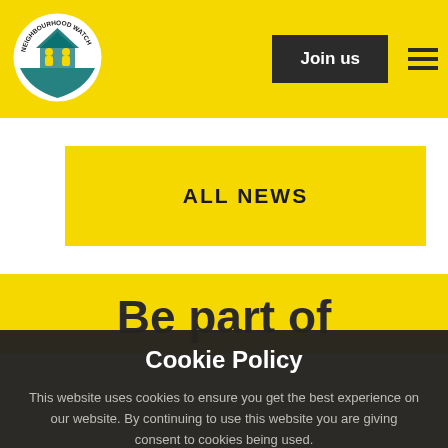[Figure (logo): Neighbourhood Watch circular logo with figures and house icon]
Join us
ALL NEWS
Be part of
Cookie Policy
This website uses cookies to ensure you get the best experience on our website. By continuing to use this website you are giving consent to cookies being used.
ACCEPT
More information